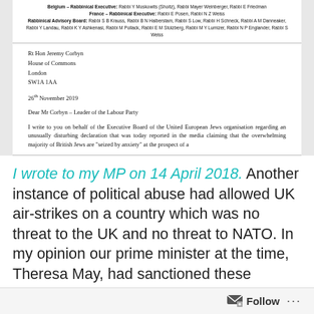Rabbinical Executive: Rabbi Y Moskowits (Shoitz), Rabbi Mayer Weinberger, Rabbi E Friedman
Belgium – Rabbinical Executive: Rabbi Y Moskowits (Shoitz), Rabbi Mayer Weinberger, Rabbi E Friedman
France – Rabbinical Executive: Rabbi E Posen, Rabbi N Z Weiss
Rabbinical Advisory Board: Rabbi S B Krauss, Rabbi B N Halberstam, Rabbi S Low, Rabbi H Schneck, Rabbi A M Danneaker, Rabbi Y Landau, Rabbi K Y Ashkenasi, Rabbi M Pollack, Rabbi E M Stolzberg, Rabbi M Y Lumizer, Rabbi N P Englander, Rabbi S Weiss
Rt Hon Jeremy Corbyn
House of Commons
London
SW1A 1AA
26th November 2019
Dear Mr Corbyn – Leader of the Labour Party
I write to you on behalf of the Executive Board of the United European Jews organisation regarding an unusually disturbing declaration that was today reported in the media claiming that the overwhelming majority of British Jews are "seized by anxiety" at the prospect of a
I wrote to my MP on 14 April 2018. Another instance of political abuse had allowed UK air-strikes on a country which was no threat to the UK and no threat to NATO. In my opinion our prime minister at the time, Theresa May, had sanctioned these attacks on Syria without consulting parliament and therefore I believed she should have resigned. Our country was off the rails then